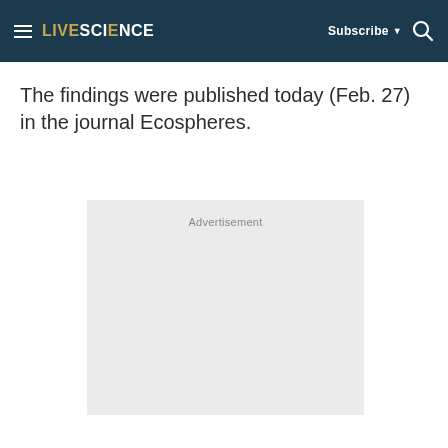LIVESCIENCE  Subscribe  🔍
The findings were published today (Feb. 27) in the journal Ecospheres.
[Figure (other): Advertisement placeholder box with light gray background and 'Advertisement' label text]